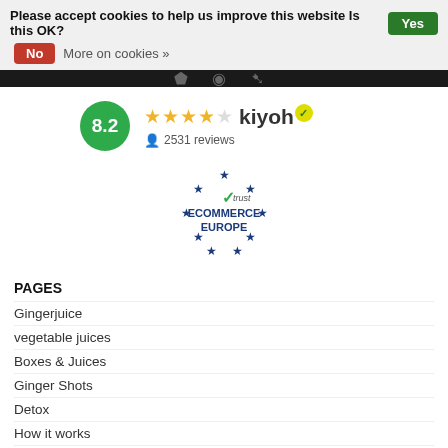Please accept cookies to help us improve this website Is this OK? Yes No More on cookies »
[Figure (infographic): Kiyoh rating badge showing 8.2 score in green circle, 4.5 gold stars, kiyoh brand name with checkmark badge, and 2531 reviews]
[Figure (logo): Trust Ecommerce Europe logo with blue stars arranged in EU circle pattern and green checkmark]
PAGES
Gingerjuice
vegetable juices
Boxes & Juices
Ginger Shots
Detox
How it works
Juice Cleanse
Daily Detox Plan